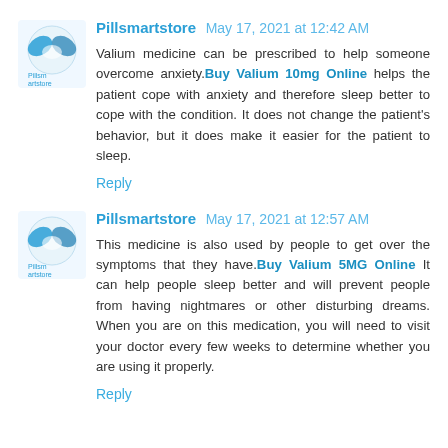Pillsmartstore May 17, 2021 at 12:42 AM
Valium medicine can be prescribed to help someone overcome anxiety. Buy Valium 10mg Online helps the patient cope with anxiety and therefore sleep better to cope with the condition. It does not change the patient's behavior, but it does make it easier for the patient to sleep.
Reply
Pillsmartstore May 17, 2021 at 12:57 AM
This medicine is also used by people to get over the symptoms that they have. Buy Valium 5MG Online It can help people sleep better and will prevent people from having nightmares or other disturbing dreams. When you are on this medication, you will need to visit your doctor every few weeks to determine whether you are using it properly.
Reply